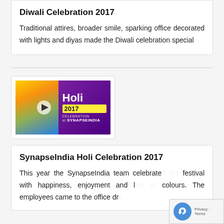Diwali Celebration 2017
Traditional attires, broader smile, sparking office decorated with lights and diyas made the Diwali celebration special
[Figure (photo): Holi Celebration 2017 at SynapseIndia - colorful photo collage with people celebrating Holi, showing the text 'Holi 2017 Celebration at SYNAPSEINDIA' with a play button overlay]
SynapseIndia Holi Celebration 2017
This year the SynapseIndia team celebrated the festival with happiness, enjoyment and lots of colours. The employees came to the office dre...